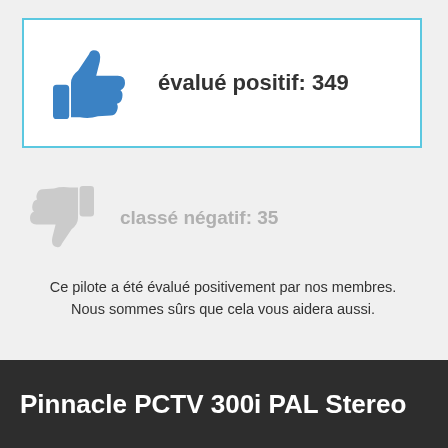[Figure (illustration): Blue thumbs up icon inside a bordered box with text 'évalué positif: 349']
évalué positif: 349
[Figure (illustration): Faded grey thumbs down icon with text 'classé négatif: 35']
classé négatif: 35
Ce pilote a été évalué positivement par nos membres. Nous sommes sûrs que cela vous aidera aussi.
Pinnacle PCTV 300i PAL Stereo